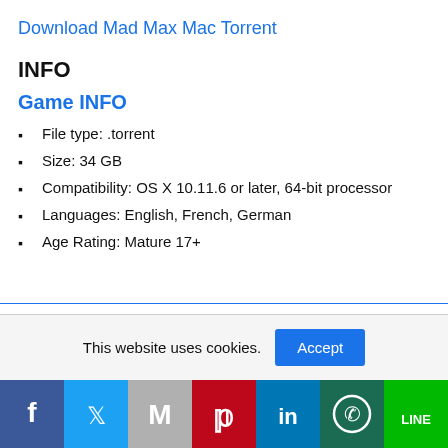Download Mad Max Mac Torrent
INFO
Game INFO
File type: .torrent
Size: 34 GB
Compatibility: OS X 10.11.6 or later, 64-bit processor
Languages: English, French, German
Age Rating: Mature 17+
This website uses cookies.   Accept
[Figure (infographic): Social share bar with icons: Facebook (dark blue), Twitter (blue), Gmail (grey), Pinterest (red), LinkedIn (blue), WhatsApp (teal/dark green), Line (green)]